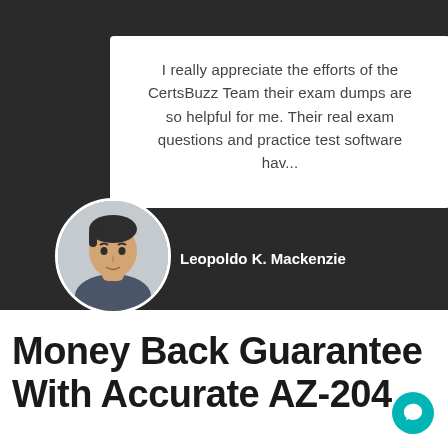[Figure (photo): Screenshot of a testimonial card on a dark background. A white card contains a review quote from Leopoldo K. Mackenzie about CertsBuzz exam dumps. A circular headshot photo of a man appears at the bottom-left of the card, overlapping with the dark background.]
I really appreciate the efforts of the CertsBuzz Team their exam dumps are so helpful for me. Their real exam questions and practice test software hav...
Leopoldo K. Mackenzie
Money Back Guarantee With Accurate AZ-204